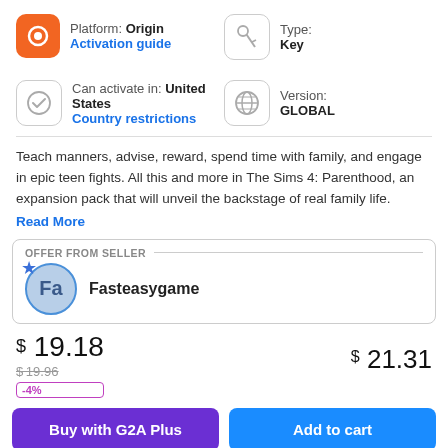Platform: Origin
Activation guide
Type:
Key
Can activate in: United States
Country restrictions
Version:
GLOBAL
Teach manners, advise, reward, spend time with family, and engage in epic teen fights. All this and more in The Sims 4: Parenthood, an expansion pack that will unveil the backstage of real family life.
Read More
OFFER FROM SELLER
Fasteasygame
$ 19.18
$19.96
-4%
$ 21.31
Buy with G2A Plus
Add to cart